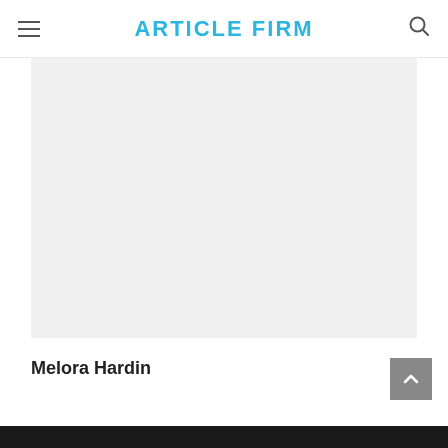ARTICLE FIRM
[Figure (photo): Large light gray placeholder image area for article thumbnail]
Melora Hardin